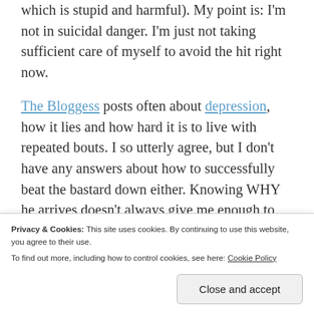which is stupid and harmful). My point is: I'm not in suicidal danger. I'm just not taking sufficient care of myself to avoid the hit right now.
The Bloggess posts often about depression, how it lies and how hard it is to live with repeated bouts. I so utterly agree, but I don't have any answers about how to successfully beat the bastard down either. Knowing WHY he arrives doesn't always give me enough to defeat him. The past few months have been so utterly emotionally exhausting I haven't been able to refill my well, which left me open to that sneaky bastard. And so I force myself to get out
Privacy & Cookies: This site uses cookies. By continuing to use this website, you agree to their use.
To find out more, including how to control cookies, see here: Cookie Policy
Close and accept